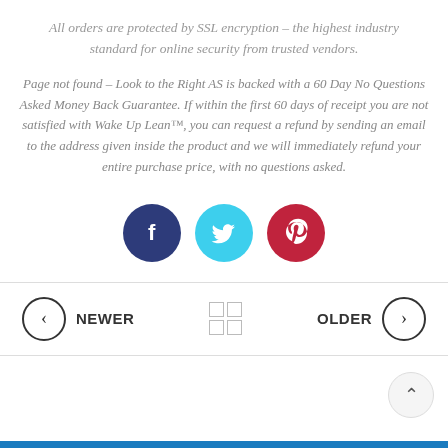All orders are protected by SSL encryption – the highest industry standard for online security from trusted vendors.
Page not found – Look to the Right AS is backed with a 60 Day No Questions Asked Money Back Guarantee. If within the first 60 days of receipt you are not satisfied with Wake Up Lean™, you can request a refund by sending an email to the address given inside the product and we will immediately refund your entire purchase price, with no questions asked.
[Figure (infographic): Three social media share buttons: Facebook (dark blue circle with 'f' icon), Twitter (cyan circle with bird icon), Pinterest (dark red circle with 'p' icon)]
[Figure (infographic): Navigation bar with NEWER button (left arrow circle) on left, grid/home icon in center, OLDER button (right arrow circle) on right]